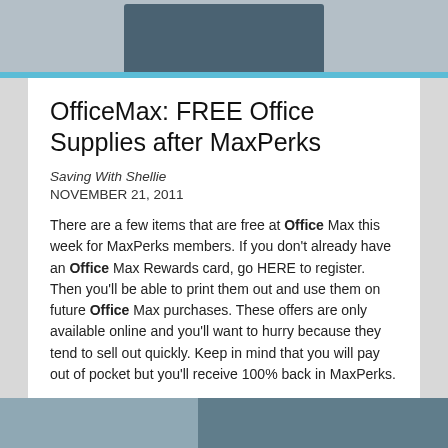[Figure (photo): Partial photo of a person wearing a dark blue t-shirt, cropped at top of page]
OfficeMax: FREE Office Supplies after MaxPerks
Saving With Shellie
NOVEMBER 21, 2011
There are a few items that are free at Office Max this week for MaxPerks members. If you don't already have an Office Max Rewards card, go HERE to register. Then you'll be able to print them out and use them on future Office Max purchases. These offers are only available online and you'll want to hurry because they tend to sell out quickly. Keep in mind that you will pay out of pocket but you'll receive 100% back in MaxPerks.
[Figure (photo): Partial photo of a person at the bottom of the page]